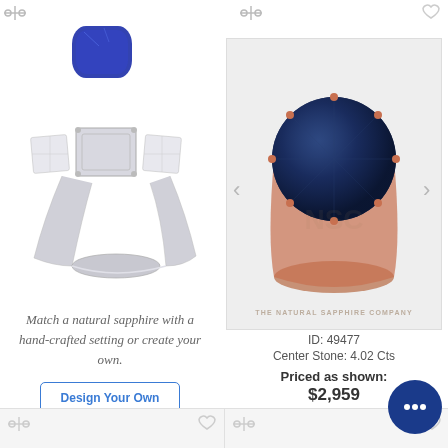[Figure (photo): A sapphire gemstone separated from a white gold three-stone ring setting with diamond side stones, shown in exploded view]
[Figure (photo): A round dark blue sapphire solitaire ring set in rose gold, with The Natural Sapphire Company watermark, with left/right navigation arrows]
Match a natural sapphire with a hand-crafted setting or create your own.
Design Your Own
ID: 49477
Center Stone: 4.02 Cts
Priced as shown:
$2,959
View